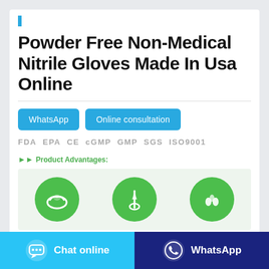Powder Free Non-Medical Nitrile Gloves Made In Usa Online
WhatsApp | Online consultation
FDA  EPA  CE  cGMP  GMP  SGS  ISO9001  ISO14001
Product Advantages:
[Figure (illustration): Three green circular icons representing product advantages: a hand/glove icon, a glove/finger cot icon, and a water drops icon]
Chat online
WhatsApp